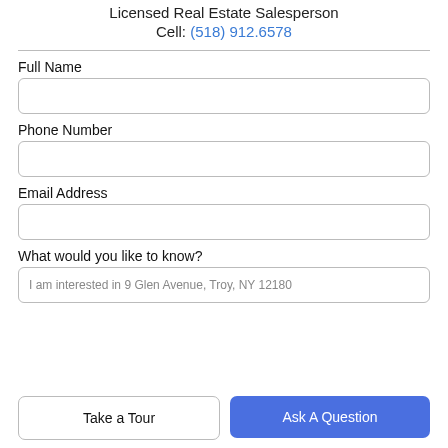Licensed Real Estate Salesperson
Cell: (518) 912.6578
Full Name
Phone Number
Email Address
What would you like to know?
I am interested in 9 Glen Avenue, Troy, NY 12180
Take a Tour
Ask A Question